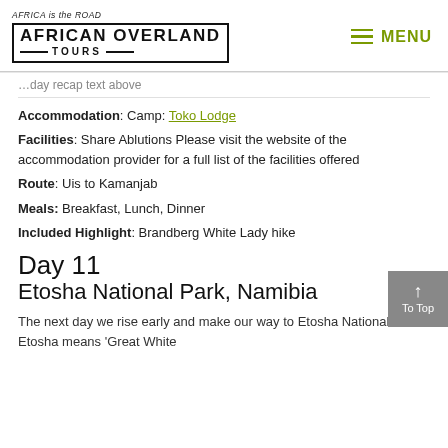AFRICA is the ROAD | AFRICAN OVERLAND TOURS | MENU
[truncated day text above]
Accommodation: Camp: Toko Lodge
Facilities: Share Ablutions Please visit the website of the accommodation provider for a full list of the facilities offered
Route: Uis to Kamanjab
Meals: Breakfast, Lunch, Dinner
Included Highlight: Brandberg White Lady hike
Day 11
Etosha National Park, Namibia
The next day we rise early and make our way to Etosha National Park. Etosha means 'Great White